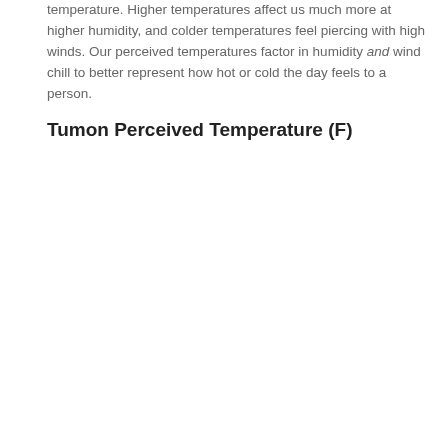temperature. Higher temperatures affect us much more at higher humidity, and colder temperatures feel piercing with high winds. Our perceived temperatures factor in humidity and wind chill to better represent how hot or cold the day feels to a person.
Tumon Perceived Temperature (F)